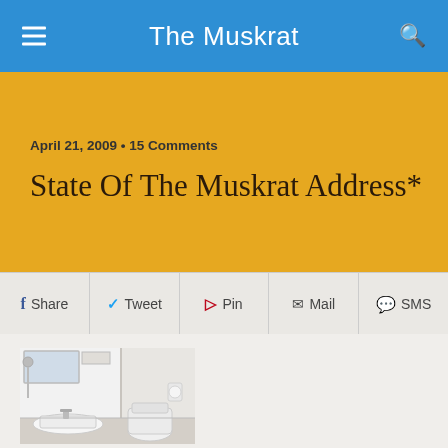The Muskrat
April 21, 2009 • 15 Comments
State Of The Muskrat Address*
Share  Tweet  Pin  Mail  SMS
[Figure (photo): Photograph of a small white bathroom with sink, toilet, shower, and mirror]